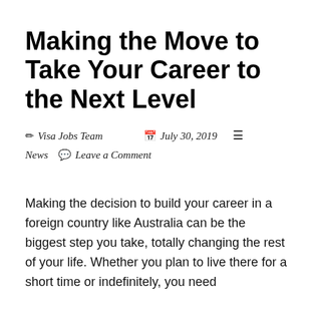Making the Move to Take Your Career to the Next Level
✏ Visa Jobs Team   📅 July 30, 2019   ☰ News   💬 Leave a Comment
Making the decision to build your career in a foreign country like Australia can be the biggest step you take, totally changing the rest of your life. Whether you plan to live there for a short time or indefinitely, you need